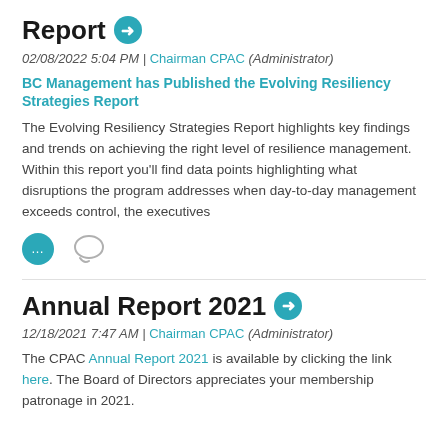Report →
02/08/2022 5:04 PM | Chairman CPAC (Administrator)
BC Management has Published the Evolving Resiliency Strategies Report
The Evolving Resiliency Strategies Report highlights key findings and trends on achieving the right level of resilience management.  Within this report you'll find data points highlighting what disruptions the program addresses when day-to-day management exceeds control, the executives
Annual Report 2021 →
12/18/2021 7:47 AM | Chairman CPAC (Administrator)
The CPAC Annual Report 2021 is available by clicking the link here. The Board of Directors appreciates your membership patronage in 2021.